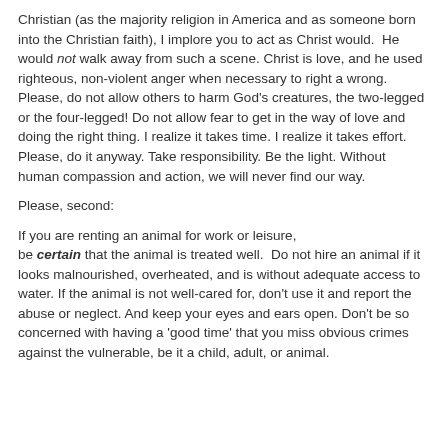Christian (as the majority religion in America and as someone born into the Christian faith), I implore you to act as Christ would.  He would not walk away from such a scene. Christ is love, and he used righteous, non-violent anger when necessary to right a wrong. Please, do not allow others to harm God's creatures, the two-legged or the four-legged! Do not allow fear to get in the way of love and doing the right thing. I realize it takes time. I realize it takes effort. Please, do it anyway. Take responsibility. Be the light. Without human compassion and action, we will never find our way.
Please, second:
If you are renting an animal for work or leisure, be certain that the animal is treated well.  Do not hire an animal if it looks malnourished, overheated, and is without adequate access to water. If the animal is not well-cared for, don't use it and report the abuse or neglect. And keep your eyes and ears open. Don't be so concerned with having a 'good time' that you miss obvious crimes against the vulnerable, be it a child, adult, or animal.